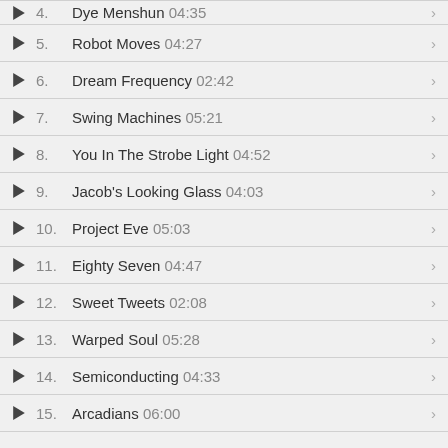4. Dye Menshun 04:35
5. Robot Moves 04:27
6. Dream Frequency 02:42
7. Swing Machines 05:21
8. You In The Strobe Light 04:52
9. Jacob's Looking Glass 04:03
10. Project Eve 05:03
11. Eighty Seven 04:47
12. Sweet Tweets 02:08
13. Warped Soul 05:28
14. Semiconducting 04:33
15. Arcadians 06:00